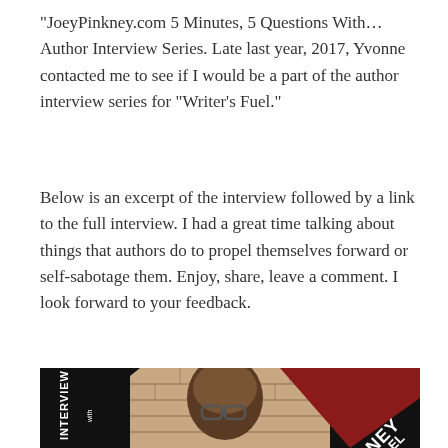“JoeyPinkney.com 5 Minutes, 5 Questions With… Author Interview Series. Late last year, 2017, Yvonne contacted me to see if I would be a part of the author interview series for “Writer’s Fuel.”
Below is an excerpt of the interview followed by a link to the full interview. I had a great time talking about things that authors do to propel themselves forward or self-sabotage them. Enjoy, share, leave a comment. I look forward to your feedback.
[Figure (photo): A promotional interview graphic showing a Black man wearing glasses against a brick wall background, with black triangular overlays on the left and bottom-right. Text reading 'INTERVIEW with' is visible on the left side, and partial text 'NEY' and 'EL' appear on the bottom-right in the dark red/crimson triangular area.]